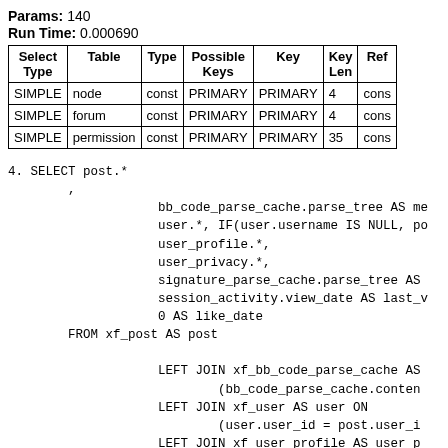Params: 140
Run Time: 0.000690
| Select Type | Table | Type | Possible Keys | Key | Key Len | Ref |
| --- | --- | --- | --- | --- | --- | --- |
| SIMPLE | node | const | PRIMARY | PRIMARY | 4 | cons |
| SIMPLE | forum | const | PRIMARY | PRIMARY | 4 | cons |
| SIMPLE | permission | const | PRIMARY | PRIMARY | 35 | cons |
4. SELECT post.*
        ,
                    bb_code_parse_cache.parse_tree AS me
                    user.*, IF(user.username IS NULL, po
                    user_profile.*,
                    user_privacy.*,
                    signature_parse_cache.parse_tree AS
                    session_activity.view_date AS last_v
                    0 AS like_date
        FROM xf_post AS post

                    LEFT JOIN xf_bb_code_parse_cache AS
                            (bb_code_parse_cache.conten
                    LEFT JOIN xf_user AS user ON
                            (user.user_id = post.user_i
                    LEFT JOIN xf_user_profile AS user_p
                            (user_profile.user_id = pos
                    LEFT JOIN xf_user_privacy AS user_p
                            (user_privacy.user_id = pos